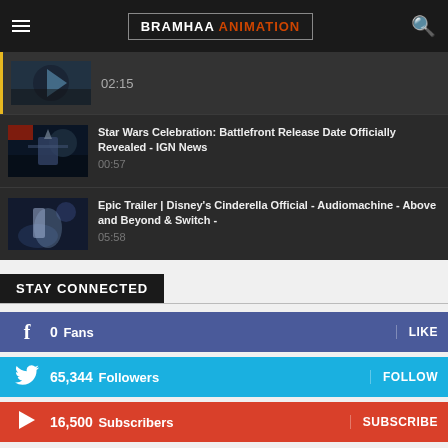BRAMHAA ANIMATION
[Figure (screenshot): Partially visible video thumbnail with sci-fi armored figure, timestamp 02:15]
[Figure (screenshot): Star Wars Battlefront video thumbnail]
Star Wars Celebration: Battlefront Release Date Officially Revealed - IGN News
00:57
[Figure (screenshot): Disney Cinderella video thumbnail]
Epic Trailer | Disney's Cinderella Official - Audiomachine - Above and Beyond & Switch -
05:58
STAY CONNECTED
0  Fans
LIKE
65,344  Followers
FOLLOW
16,500  Subscribers
SUBSCRIBE